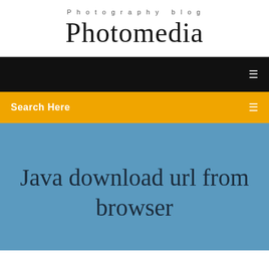Photography blog
Photomedia
Search Here
Java download url from browser